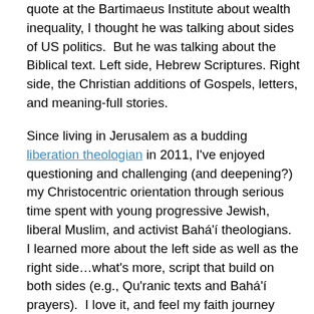quote at the Bartimaeus Institute about wealth inequality, I thought he was talking about sides of US politics.  But he was talking about the Biblical text. Left side, Hebrew Scriptures. Right side, the Christian additions of Gospels, letters, and meaning-full stories.

Since living in Jerusalem as a budding liberation theologian in 2011, I've enjoyed questioning and challenging (and deepening?) my Christocentric orientation through serious time spent with young progressive Jewish, liberal Muslim, and activist Bahá'í theologians.  I learned more about the left side as well as the right side…what's more, script that build on both sides (e.g., Qu'ranic texts and Bahá'í prayers).  I love it, and feel my faith journey greatly enriched by my companions in other communities and denominational/religious traditions. Here in California, I'm blessed to encounter Buddhist